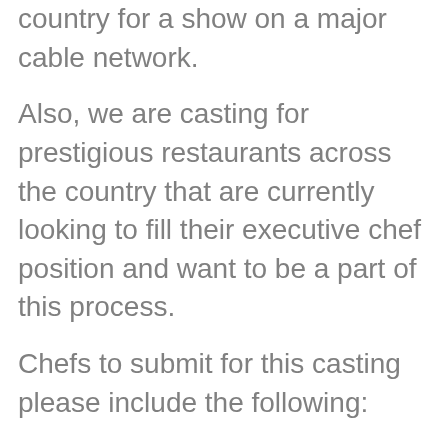country for a show on a major cable network.
Also, we are casting for prestigious restaurants across the country that are currently looking to fill their executive chef position and want to be a part of this process.
Chefs to submit for this casting please include the following:
NAME:
Age:
CURRENT TITLE (i.e. Executive Chef, Sous Chef, Line Cook etc)
Location:
CONTACT INFO (phone number/e-mail/websites):
2 CURRENT PHOTOS, RESUME AND